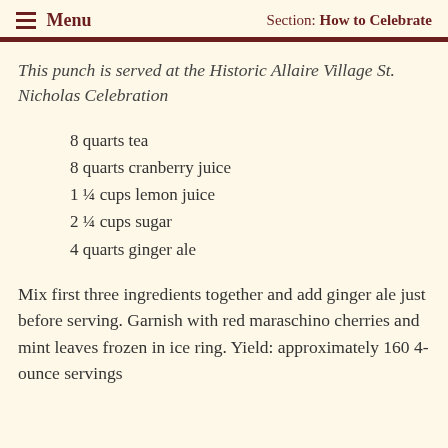Menu   Section: How to Celebrate
This punch is served at the Historic Allaire Village St. Nicholas Celebration
8 quarts tea
8 quarts cranberry juice
1 ¼ cups lemon juice
2 ¼ cups sugar
4 quarts ginger ale
Mix first three ingredients together and add ginger ale just before serving. Garnish with red maraschino cherries and mint leaves frozen in ice ring. Yield: approximately 160 4-ounce servings